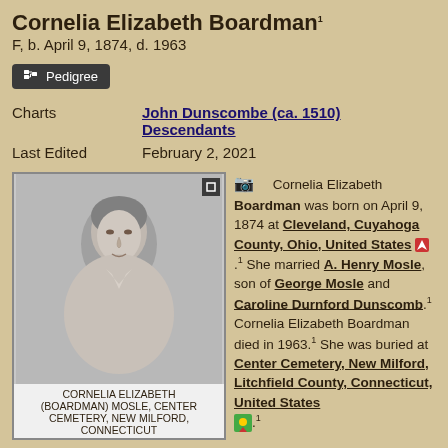Cornelia Elizabeth Boardman¹
F, b. April 9, 1874, d. 1963
Pedigree
| Field | Value |
| --- | --- |
| Charts | John Dunscombe (ca. 1510) Descendants |
| Last Edited | February 2, 2021 |
[Figure (photo): Black and white portrait photograph of Cornelia Elizabeth Boardman (Mosle), taken at Center Cemetery, New Milford, Connecticut]
CORNELIA ELIZABETH (BOARDMAN) MOSLE, CENTER CEMETERY, NEW MILFORD, CONNECTICUT
Cornelia Elizabeth Boardman was born on April 9, 1874 at Cleveland, Cuyahoga County, Ohio, United States.¹ She married A. Henry Mosle, son of George Mosle and Caroline Durnford Dunscomb.¹ Cornelia Elizabeth Boardman died in 1963.¹ She was buried at Center Cemetery, New Milford, Litchfield County, Connecticut, United States.¹